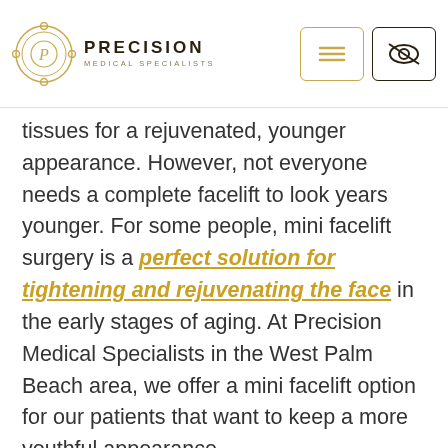[Figure (logo): Precision Medical Specialists logo with circular emblem and text]
tissues for a rejuvenated, younger appearance. However, not everyone needs a complete facelift to look years younger. For some people, mini facelift surgery is a perfect solution for tightening and rejuvenating the face in the early stages of aging. At Precision Medical Specialists in the West Palm Beach area, we offer a mini facelift option for our patients that want to keep a more youthful appearance.
WHAT IS A MINI FACELIFT?
A traditional facelift uses incisions around the ear